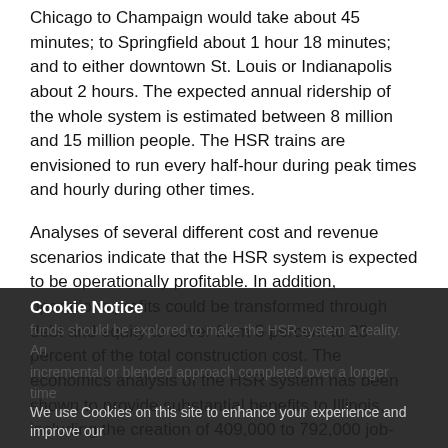Chicago to Champaign would take about 45 minutes; to Springfield about 1 hour 18 minutes; and to either downtown St. Louis or Indianapolis about 2 hours. The expected annual ridership of the whole system is estimated between 8 million and 15 million people. The HSR trains are envisioned to run every half-hour during peak times and hourly during other times.
Analyses of several different cost and revenue scenarios indicate that the HSR system is expected to be operationally profitable. In addition, operations profits could be transformed through debt and equity to cover from 5 percent to 23 percent of the total construction cost. The economics analysis of the HSR system has been shown to provide substantial benefits to Illinois, including the creation of 409,000 to 792,000 job-years during five years of construction and creation of 10,890 to 13,820 jobs per year during the first 10 years of operation. Public-private partnership (PPP) with substantial investments of public funds should be explored to make the HSR system a reality. An incremental or blended approach completed over a longer time
Cookie Notice
We use Cookies on this site to enhance your experience and improve our